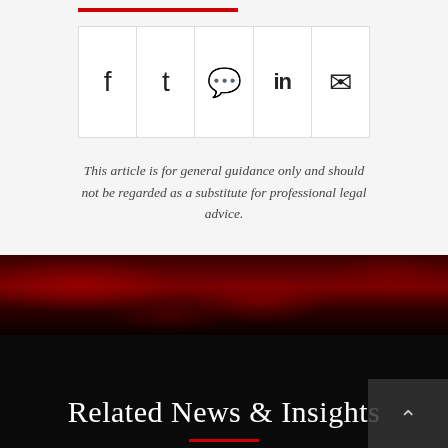[Figure (other): Social share bar with icons for Facebook, Twitter, WhatsApp, LinkedIn, and email]
This article is for general guidance only and should not be regarded as a substitute for professional legal advice.
[Figure (illustration): Dark red smoke/abstract background banner]
Related News & Insights